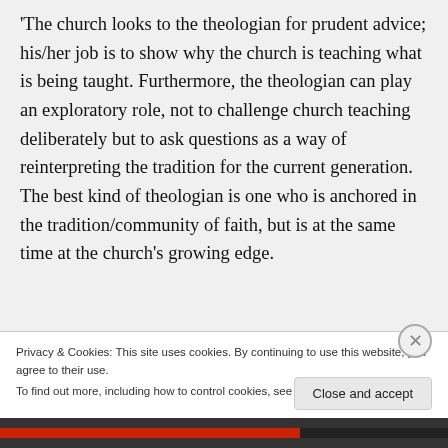'The church looks to the theologian for prudent advice; his/her job is to show why the church is teaching what is being taught. Furthermore, the theologian can play an exploratory role, not to challenge church teaching deliberately but to ask questions as a way of reinterpreting the tradition for the current generation. The best kind of theologian is one who is anchored in the tradition/community of faith, but is at the same time at the church's growing edge.
Privacy & Cookies: This site uses cookies. By continuing to use this website, you agree to their use. To find out more, including how to control cookies, see here: Cookie Policy